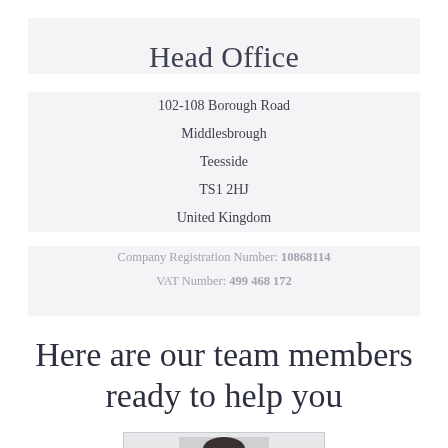Head Office
102-108 Borough Road
Middlesbrough
Teesside
TS1 2HJ
United Kingdom
Company Registration Number: 10868114
VAT Number: 499 468 172
Here are our team members ready to help you
[Figure (photo): Partial photo of a team member, showing top of head with dark hair, cropped at bottom of frame]